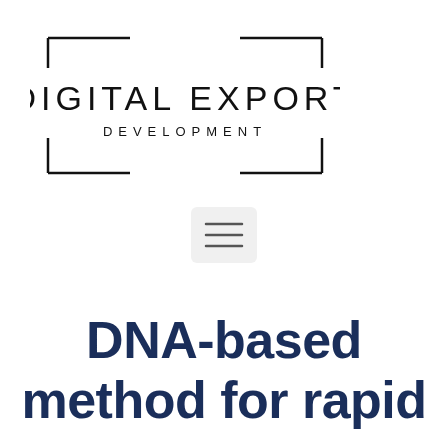[Figure (logo): Digital Export Development logo with rectangular bracket frame around the text]
[Figure (other): Hamburger menu icon (three horizontal lines) inside a rounded square button]
DNA-based method for rapid